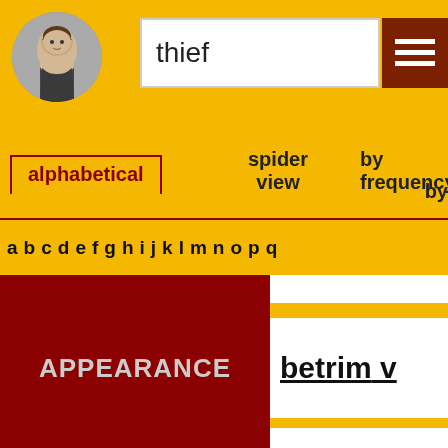[Figure (illustration): Shakespeare portrait circular logo]
thief
[Figure (other): Hamburger menu icon button (dark red)]
alphabetical
spider view
by frequency
by
a b c d e f g h i j k l m n o p q
APPEARANCE
betrim v
new-trimmed
NOT
un-trimmed